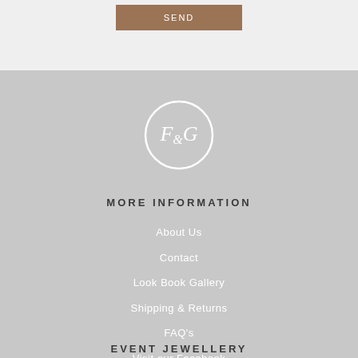[Figure (logo): SEND button in brown/tan color]
[Figure (logo): F&G monogram logo in circle, white on gray]
MORE INFORMATION
About Us
Contact
Look Book Gallery
Shipping & Returns
FAQ's
Visit our Facebook
EVENT JEWELLERY